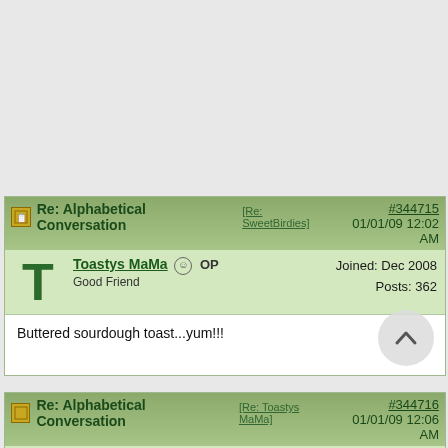[grey background area — top portion of page, no content]
Re: Alphabetical Conversation [Re: SweetBirdies] #344715 01/01/09 12:02 AM
Toastys MaMa OP Good Friend | Joined: Dec 2008 | Posts: 362
Buttered sourdough toast...yum!!!
Re: Alphabetical Conversation [Re: Toastys MaMa] #344716 01/01/09 12:06 AM
BLR | Joined: Mar 2008